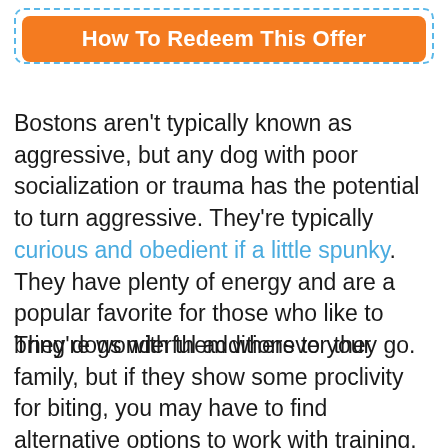[Figure (other): Orange button labeled 'How To Redeem This Offer' inside a dashed blue border box]
Bostons aren't typically known as aggressive, but any dog with poor socialization or trauma has the potential to turn aggressive. They're typically curious and obedient if a little spunky. They have plenty of energy and are a popular favorite for those who like to bring dogs with them wherever they go.
They're wonderful additions to your family, but if they show some proclivity for biting, you may have to find alternative options to work with training. Dogs that bite aren't just dangerous. The consequences of biting the